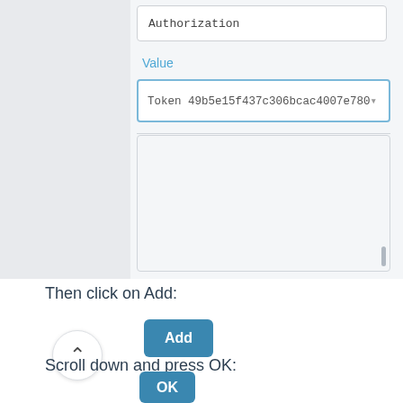[Figure (screenshot): UI dialog showing an Authorization text field and a Value field containing 'Token 49b5e15f437c306bcac4007e780...' with a blue border, and a large empty textarea below. A gray sidebar is visible on the left.]
Then click on Add:
[Figure (screenshot): Add button (teal/blue) and a circular up-arrow navigation button]
Scroll down and press OK:
[Figure (screenshot): OK button (teal/blue)]